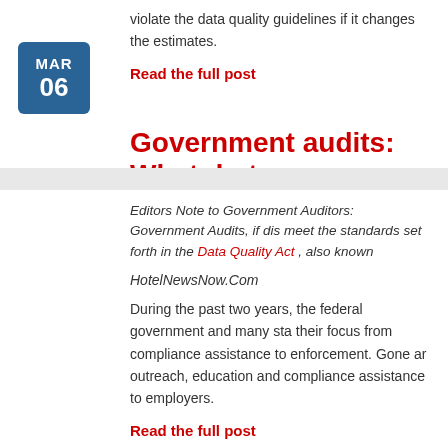violate the data quality guidelines if it changes the estimates.
Read the full post
Government audits: What do t
Editors Note to Government Auditors: Government Audits, if dis meet the standards set forth in the Data Quality Act , also known
HotelNewsNow.Com
During the past two years, the federal government and many sta their focus from compliance assistance to enforcement. Gone ar outreach, education and compliance assistance to employers.
Read the full post